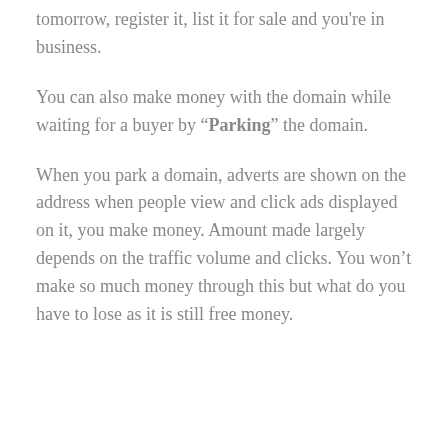tomorrow, register it, list it for sale and you're in business.
You can also make money with the domain while waiting for a buyer by “Parking” the domain.
When you park a domain, adverts are shown on the address when people view and click ads displayed on it, you make money. Amount made largely depends on the traffic volume and clicks. You won’t make so much money through this but what do you have to lose as it is still free money.